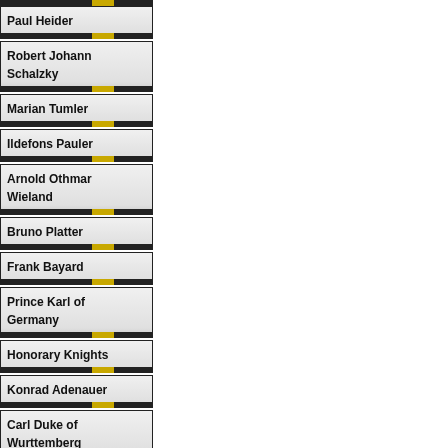Paul Heider
Robert Johann Schalzky
Marian Tumler
Ildefons Pauler
Arnold Othmar Wieland
Bruno Platter
Frank Bayard
Prince Karl of Germany
Honorary Knights
Konrad Adenauer
Carl Duke of Wurttemberg
Franz Joseph of Liechtenstein
Karl von Habsburg